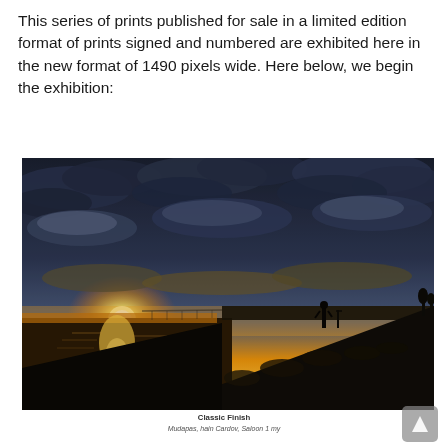This series of prints published for sale in a limited edition format of prints signed and numbered are exhibited here in the new format of 1490 pixels wide. Here below, we begin the exhibition:
[Figure (photo): Sunset landscape photograph showing a dramatic sky with clouds over a river or lake, with a silhouetted figure standing on a rocky shoreline. The sun is low on the horizon creating golden reflections on the water. Trees and structures are visible in the far distance.]
Classic Finish
Mudapas, hain Cardov, Saloon 1 my